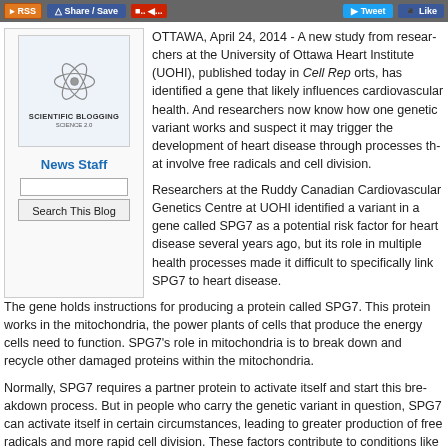RSS | Share / Save | Tweet | Like
[Figure (logo): Scientific Blogging Science 2.0 logo with atom icon]
News Staff
Search This Blog
OTTAWA, April 24, 2014 - A new study from researchers at the University of Ottawa Heart Institute (UOHI), published today in Cell Reports, has identified a gene that likely influences cardiovascular health. And researchers now know how one genetic variant works and suspect it may trigger the development of heart disease through processes that involve free radicals and cell division.
Researchers at the Ruddy Canadian Cardiovascular Genetics Centre at UOHI identified a variant in a gene called SPG7 as a potential risk factor for heart disease several years ago, but its role in multiple health processes made it difficult to specifically link SPG7 to heart disease.
The gene holds instructions for producing a protein called SPG7. This protein works in the mitochondria, the power plants of cells that produce the energy cells need to function. SPG7's role in mitochondria is to break down and recycle other damaged proteins within the mitochondria.
Normally, SPG7 requires a partner protein to activate itself and start this breakdown process. But in people who carry the genetic variant in question, SPG7 can activate itself in certain circumstances, leading to greater production of free radicals and more rapid cell division. These factors contribute to conditions like atherosclerosis.